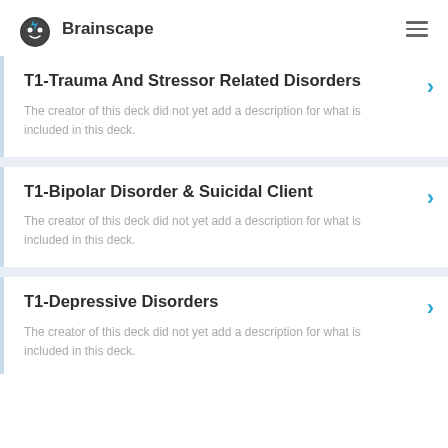Brainscape
T1-Trauma And Stressor Related Disorders
The creator of this deck did not yet add a description for what is included in this deck.
T1-Bipolar Disorder & Suicidal Client
The creator of this deck did not yet add a description for what is included in this deck.
T1-Depressive Disorders
The creator of this deck did not yet add a description for what is included in this deck.